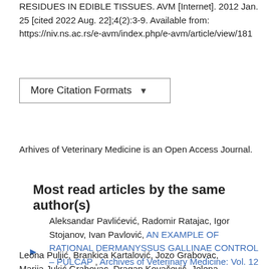RESIDUES IN EDIBLE TISSUES. AVM [Internet]. 2012 Jan. 25 [cited 2022 Aug. 22];4(2):3-9. Available from: https://niv.ns.ac.rs/e-avm/index.php/e-avm/article/view/181
More Citation Formats ▾
Arhives of Veterinary Medicine is an Open Access Journal.
Most read articles by the same author(s)
Aleksandar Pavlićević, Radomir Ratajac, Igor Stojanov, Ivan Pavlović, AN EXAMPLE OF RATIONAL DERMANYSSUS GALLINAE CONTROL – PULCAP , Archives of Veterinary Medicine: Vol. 12 No. 1 (2019)
Leona Puljić, Brankica Kartalović, Jozo Grabovac, Marija Jukić Grabovac, Dragan Kovačević, Jelena